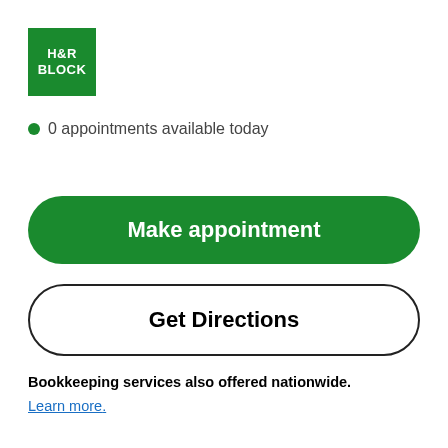[Figure (logo): H&R Block green square logo with white text reading H&R BLOCK]
0 appointments available today
Make appointment
Get Directions
Bookkeeping services also offered nationwide.
Learn more.